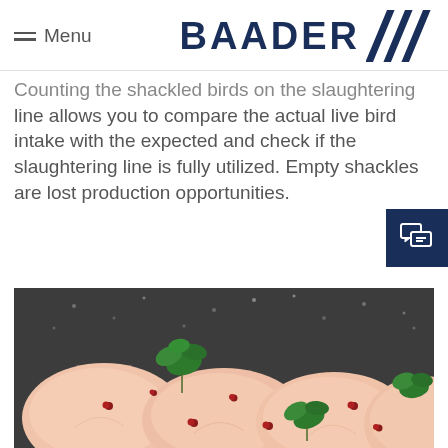Menu | BAADER
Counting the shackled birds on the slaughtering line allows you to compare the actual live bird intake with the expected and check if the slaughtering line is fully utilized. Empty shackles are lost production opportunities.
[Figure (photo): Raw chicken breasts with herbs (parsley) and red peppercorns on a dark background]